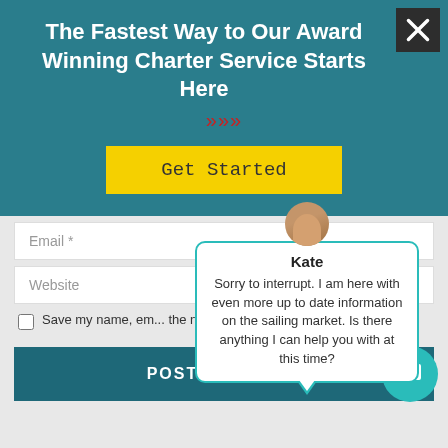The Fastest Way to Our Award Winning Charter Service Starts Here
[Figure (screenshot): Red double right-arrow decorative element]
[Figure (screenshot): Yellow Get Started button]
Email *
Website
[Figure (screenshot): Chat popup with avatar of Kate saying: Sorry to interrupt. I am here with even more up to date information on the sailing market. Is there anything I can help you with at this time?]
Save my name, em... the next time I comment.
[Figure (screenshot): POST COMMENT button with teal chat icon]
[Figure (screenshot): Dark X close button in top right corner]